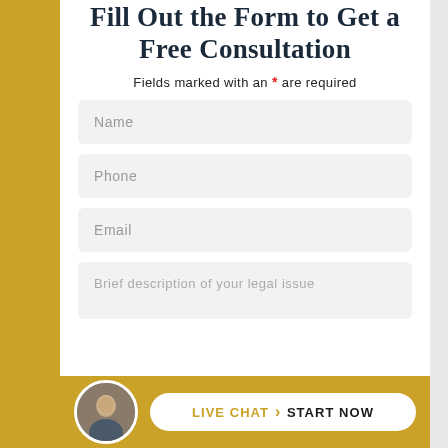Fill Out the Form to Get a Free Consultation
Fields marked with an * are required
Name
Phone
Email
Brief description of your legal issue
LIVE CHAT › START NOW